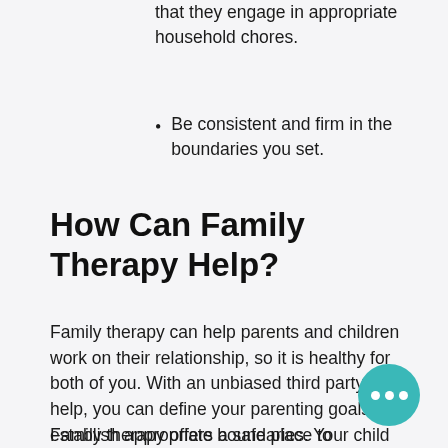that they engage in appropriate household chores.
Be consistent and firm in the boundaries you set.
How Can Family Therapy Help?
Family therapy can help parents and children work on their relationship, so it is healthy for both of you. With an unbiased third party's help, you can define your parenting goals and establish appropriate boundaries. Your child will also have the chance to express their needs and concerns.
Family therapy offers a safe place to